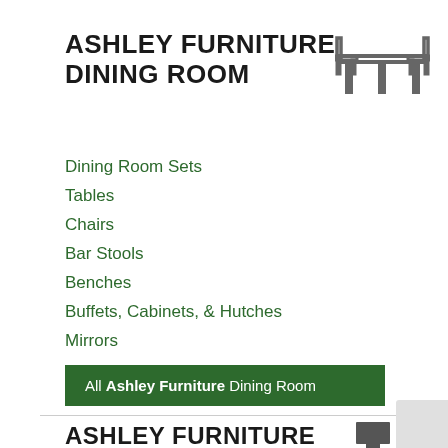ASHLEY FURNITURE DINING ROOM
[Figure (illustration): Dining room table and chairs icon in gray outline style]
Dining Room Sets
Tables
Chairs
Bar Stools
Benches
Buffets, Cabinets, & Hutches
Mirrors
All Ashley Furniture Dining Room
ASHLEY FURNITURE HOME ACCENTS
[Figure (illustration): Floor lamp icon in dark gray]